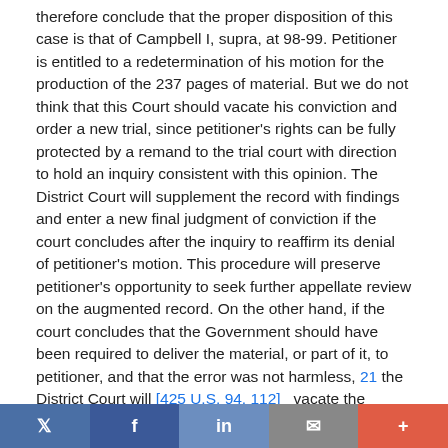therefore conclude that the proper disposition of this case is that of Campbell I, supra, at 98-99. Petitioner is entitled to a redetermination of his motion for the production of the 237 pages of material. But we do not think that this Court should vacate his conviction and order a new trial, since petitioner's rights can be fully protected by a remand to the trial court with direction to hold an inquiry consistent with this opinion. The District Court will supplement the record with findings and enter a new final judgment of conviction if the court concludes after the inquiry to reaffirm its denial of petitioner's motion. This procedure will preserve petitioner's opportunity to seek further appellate review on the augmented record. On the other hand, if the court concludes that the Government should have been required to deliver the material, or part of it, to petitioner, and that the error was not harmless, 21 the District Court will [425 U.S. 94, 112]   vacate the judgment of conviction and order petitioner a trial.